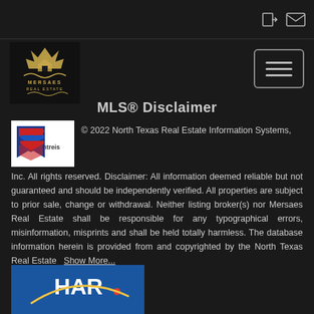MLS® Disclaimer
© 2022 North Texas Real Estate Information Systems, Inc. All rights reserved. Disclaimer: All information deemed reliable but not guaranteed and should be independently verified. All properties are subject to prior sale, change or withdrawal. Neither listing broker(s) nor Mersaes Real Estate shall be responsible for any typographical errors, misinformation, misprints and shall be held totally harmless. The database information herein is provided from and copyrighted by the North Texas Real Estate   Show More...
[Figure (logo): NTREIS logo - North Texas Real Estate Information Systems]
[Figure (logo): HAR logo - partially visible at bottom]